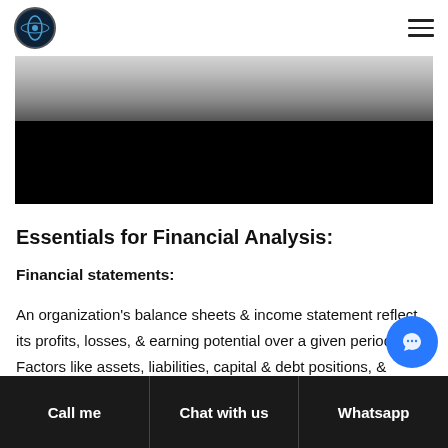[Figure (screenshot): Website navigation bar with circular logo icon on the left and hamburger menu icon on the right]
[Figure (photo): Hero image with a light grey upper half showing blurred office/document scene and a solid black lower half]
Essentials for Financial Analysis:
Financial statements:
An organization's balance sheets & income statement reflect its profits, losses, & earning potential over a given period. Factors like assets, liabilities, capital & debt positions, &
Call me   Chat with us   Whatsapp